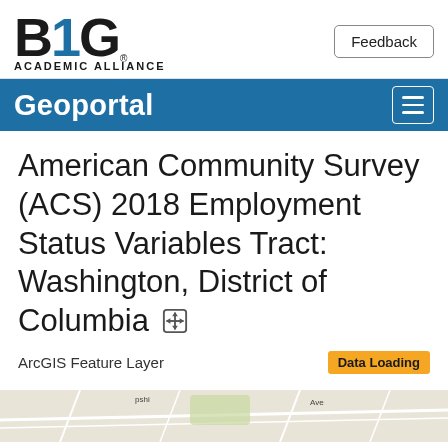[Figure (logo): Big Ten Academic Alliance logo with B1G text and 'ACADEMIC ALLIANCE' below]
Feedback
Geoportal
American Community Survey (ACS) 2018 Employment Status Variables Tract: Washington, District of Columbia
ArcGIS Feature Layer
Data Loading
[Figure (map): Map preview showing Washington DC area street/terrain map]